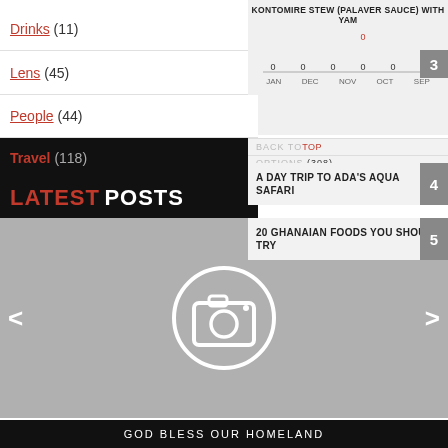Drinks (11)
Lens (45)
[Figure (bar-chart): KONTOMIRE STEW (PALAVER SAUCE) WITH YAM]
People (44)
BACK TO TOP
OPTIONS (308)
A DAY TRIP TO ADA'S AQUA SAFARI
Travel (118)
LATEST POSTS
20 GHANAIAN FOODS YOU SHOULD TRY
[Figure (photo): Placeholder image with camera icon, gray background, navigation arrows on left and right]
GOD BLESS OUR HOMELAND